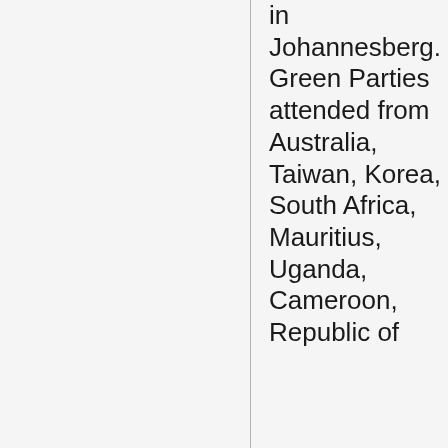in Johannesberg. Green Parties attended from Australia, Taiwan, Korea, South Africa, Mauritius, Uganda, Cameroon, Republic of